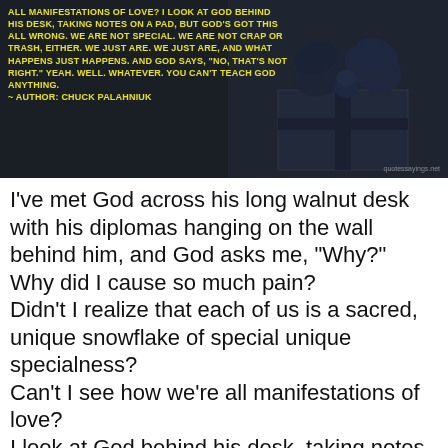[Figure (illustration): Dark background image with a dark gift box with bow on the right side, and yellow bold text quote on the left side attributed to Chuck Palahniuk]
I've met God across his long walnut desk with his diplomas hanging on the wall behind him, and God asks me, "Why?" Why did I cause so much pain? Didn't I realize that each of us is a sacred, unique snowflake of special unique specialness? Can't I see how we're all manifestations of love? I look at God behind his desk, taking notes on a pad, but God's got this all wrong. We are not special. We are not crap or trash, either.